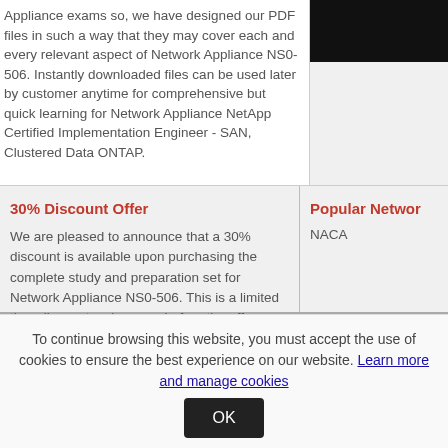Appliance exams so, we have designed our PDF files in such a way that they may cover each and every relevant aspect of Network Appliance NS0-506. Instantly downloaded files can be used later by customer anytime for comprehensive but quick learning for Network Appliance NetApp Certified Implementation Engineer - SAN, Clustered Data ONTAP.
[Figure (photo): Dark/black rectangular image in top right corner]
30% Discount Offer
We are pleased to announce that a 30% discount is available upon purchasing the complete study and preparation set for Network Appliance NS0-506. This is a limited time discount so hurry up before the offer expires.
Popular Networ...
NACA
To continue browsing this website, you must accept the use of cookies to ensure the best experience on our website. Learn more and manage cookies OK